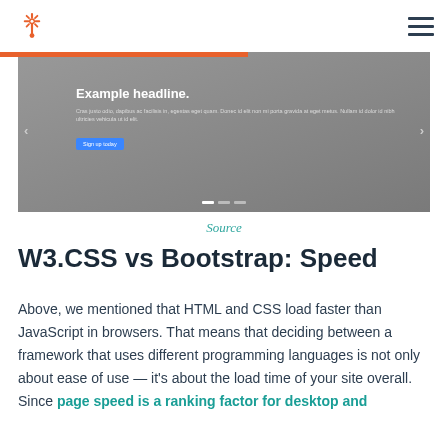HubSpot logo and hamburger menu
[Figure (screenshot): A website carousel/slider screenshot with gray background showing 'Example headline.' text, lorem ipsum body text, a blue 'Sign up today' button, navigation arrows on left and right, and carousel dot indicators at bottom.]
Source
W3.CSS vs Bootstrap: Speed
Above, we mentioned that HTML and CSS load faster than JavaScript in browsers. That means that deciding between a framework that uses different programming languages is not only about ease of use — it's about the load time of your site overall. Since page speed is a ranking factor for desktop and